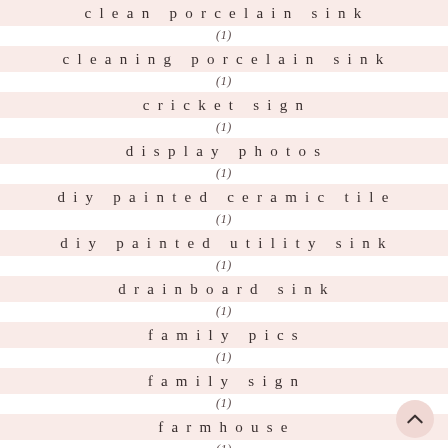clean porcelain sink
(1)
cleaning porcelain sink
(1)
cricket sign
(1)
display photos
(1)
diy painted ceramic tile
(1)
diy painted utility sink
(1)
drainboard sink
(1)
family pics
(1)
family sign
(1)
farmhouse
(1)